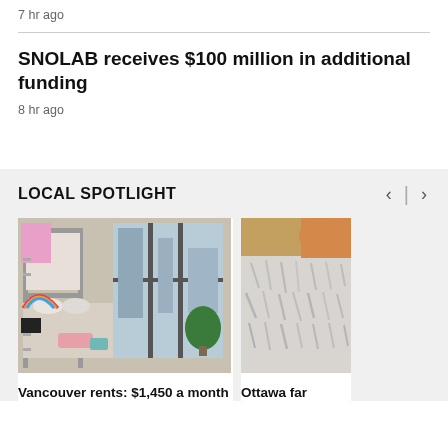7 hr ago
SNOLAB receives $100 million in additional funding
8 hr ago
LOCAL SPOTLIGHT
[Figure (photo): Interior of a small apartment room with a metal bunk bed, sofa with pillows, and large floor-to-ceiling windows showing city buildings outside. Colourful artwork on walls.]
Vancouver rents: $1,450 a month
[Figure (photo): Close-up of a fluffy grey/white fur material or animal coat, partially visible from the right edge.]
Ottawa far